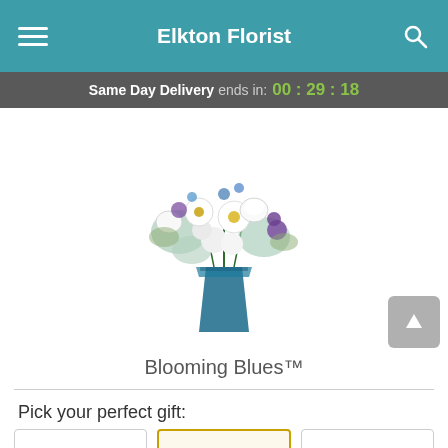Elkton Florist
Same Day Delivery ends in: 00 : 29 : 18
[Figure (photo): A floral arrangement called Blooming Blues in a blue glass vase with white gerbera daisies, white roses, blue hydrangeas, and purple flowers.]
Blooming Blues™
Pick your perfect gift: